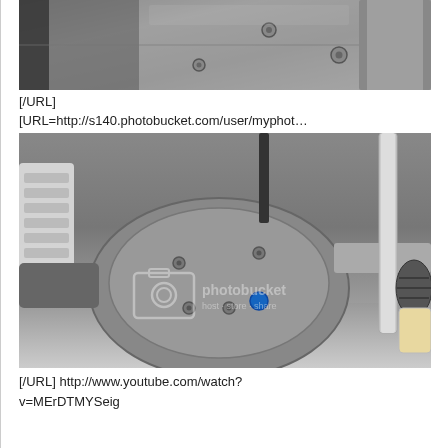[Figure (photo): Close-up photo of a metallic engine or mechanical component, showing bolts, metal surfaces, and mechanical parts. Photobucket watermark visible.]
[/URL]
[URL=http://s140.photobucket.com/user/myphot…
[Figure (photo): Underside view of a vehicle showing a differential or transfer case with a blue plug/cap, suspension components, springs, and mechanical parts. Photobucket watermark visible.]
[/URL] http://www.youtube.com/watch?v=MErDTMYSeig